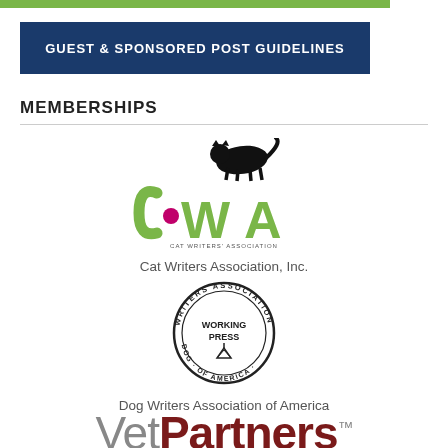[Figure (other): Green horizontal bar at top of page]
[Figure (other): Blue button/banner reading GUEST & SPONSORED POST GUIDELINES]
MEMBERSHIPS
[Figure (logo): Cat Writers Association (CWA) logo with black cat silhouette and olive/lime green lettering]
Cat Writers Association, Inc.
[Figure (logo): Dog Writers Association of America circular seal/badge logo with WORKING PRESS text]
Dog Writers Association of America
[Figure (logo): VetPartners logo with gray Vet and dark red Partners text and TM superscript]